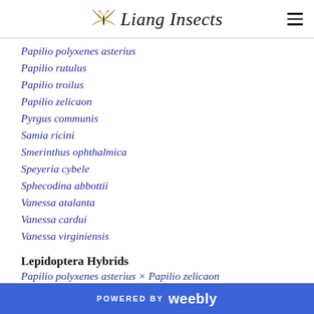Liang Insects
Papilio polyxenes asterius
Papilio rutulus
Papilio troilus
Papilio zelicaon
Pyrgus communis
Samia ricini
Smerinthus ophthalmica
Speyeria cybele
Sphecodina abbottii
Vanessa atalanta
Vanessa cardui
Vanessa virginiensis
Lepidoptera Hybrids
Papilio polyxenes asterius × Papilio zelicaon
POWERED BY weebly